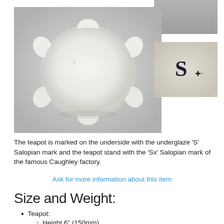[Figure (photo): Two photos: main large photo showing the bottom/underside of a white ceramic teapot with scalloped edges on gray background; top-right small photo showing gray background (partial overlap); bottom-right inset photo showing a close-up of the 'S' Salopian mark and a small cross on the ceramic surface.]
The teapot is marked on the underside with the underglaze 'S' Salopian mark and the teapot stand with the 'Sx' Salopian mark of the famous Caughley factory.
Ask for more information about this item
Size and Weight:
Teapot:
Height 6" (150mm)